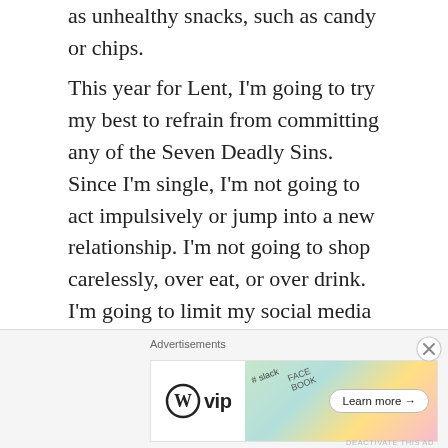as unhealthy snacks, such as candy or chips.
This year for Lent, I'm going to try my best to refrain from committing any of the Seven Deadly Sins. Since I'm single, I'm not going to act impulsively or jump into a new relationship. I'm not going to shop carelessly, over eat, or over drink. I'm going to limit my social media screen time, be thankful for the existing abundance that I have, & not envy the money, possessions, or circumstances of anyone else. I'm going to create a routine & set daily goals for myself to stay productive, & I'm going to be altruistic,
[Figure (other): Advertisement banner with WordPress VIP logo, colorful social media brand imagery (Slack, Facebook), and a 'Learn more →' button]